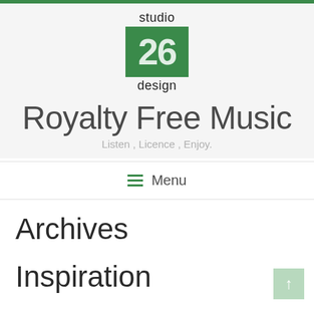[Figure (logo): Studio 26 Design logo: text 'studio' above a green square with '26' in white, text 'design' below]
Royalty Free Music
Listen , Licence , Enjoy.
≡ Menu
Archives
Inspiration